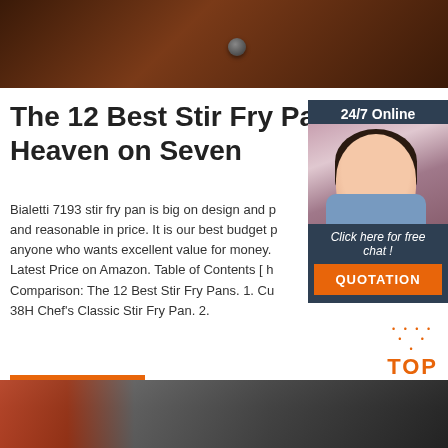[Figure (photo): Close-up photo of a dark brown wooden surface with a metal bolt/rivet]
The 12 Best Stir Fry Pans - Heaven on Seven
Bialetti 7193 stir fry pan is big on design and p... and reasonable in price. It is our best budget p... anyone who wants excellent value for money. ... Latest Price on Amazon. Table of Contents [ h... Comparison: The 12 Best Stir Fry Pans. 1. Cu... 38H Chef's Classic Stir Fry Pan. 2.
[Figure (photo): Chat widget showing 24/7 Online with a woman wearing a headset, and a QUOTATION button]
Get Price
[Figure (other): Orange TOP button with dots above it]
[Figure (photo): Industrial warehouse or factory interior photo with red beams and machinery]